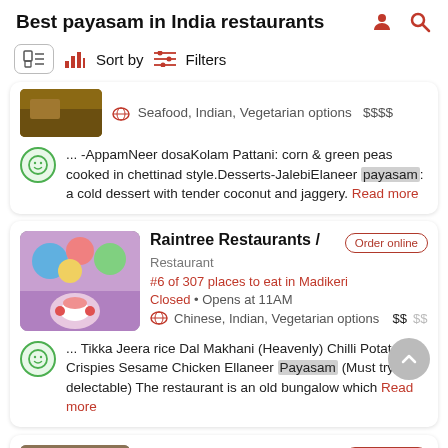Best payasam in India restaurants
Sort by   Filters
Seafood, Indian, Vegetarian options   $$$$
... -AppamNeer dosaKolam Pattani: corn & green peas cooked in chettinad style.Desserts-JalebiElaneer payasam: a cold dessert with tender coconut and jaggery. Read more
Raintree Restaurants
Restaurant
#6 of 307 places to eat in Madikeri
Closed • Opens at 11AM
Chinese, Indian, Vegetarian options   $$$$
... Tikka Jeera rice Dal Makhani (Heavenly) Chilli Potato Crispies Sesame Chicken Ellaneer Payasam (Must try, it s delectable) The restaurant is an old bungalow which Read more
Simply South / Restaurant,